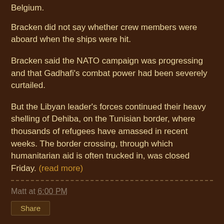Belgium.
Bracken did not say whether crew members were aboard when the ships were hit.
Bracken said the NATO campaign was progressing and that Gadhafi's combat power had been severely curtailed.
But the Libyan leader's forces continued their heavy shelling of Dehiba, on the Tunisian border, where thousands of refugees have amassed in recent weeks. The border crossing, through which humanitarian aid is often trucked in, was closed Friday. (read more)
Matt at 6:00 PM
Share
May 21st Doomsday Cult worth $72 million, and collected $20 million in donations in 2009 alone -- still open for